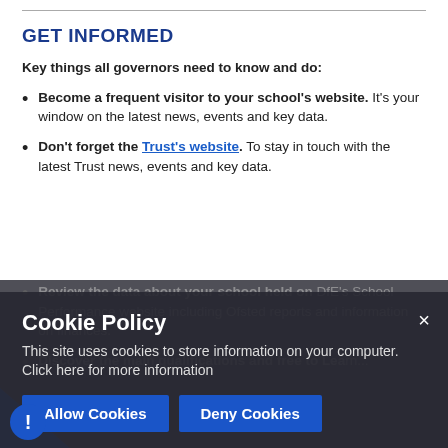GET INFORMED
Key things all governors need to know and do:
Become a frequent visitor to your school's website. It's your window on the latest news, events and key data.
Don't forget the Trust's website. To stay in touch with the latest Trust news, events and key data.
Review the data about your school held on DfE's School Performance website including Ofsted reports and information on finances.
Discover the main qualifications and free to learn...
[Figure (screenshot): Cookie policy overlay banner with dark background over the lower portion of the page. Contains title 'Cookie Policy', body text 'This site uses cookies to store information on your computer. Click here for more information', and two blue buttons: 'Allow Cookies' and 'Deny Cookies'. An 'x' close button in the top-right corner of the overlay. A blue exclamation circle icon in the bottom-left corner.]